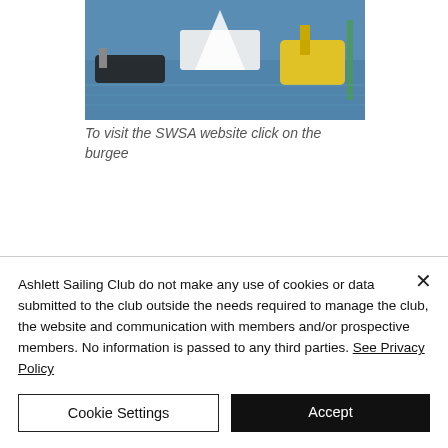[Figure (photo): Sailboats and motorboats on water, including a yellow buoy or vessel, viewed from above or at water level]
To visit the SWSA website click on the burgee
Ashlett Sailing Club do not make any use of cookies or data submitted to the club outside the needs required to manage the club, the website and communication with members and/or prospective members. No information is passed to any third parties. See Privacy Policy
Cookie Settings
Accept